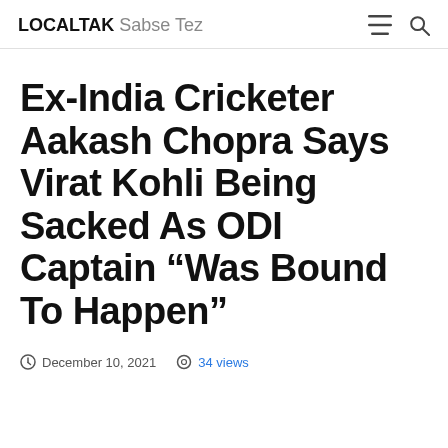LOCALTAK Sabse Tez
Ex-India Cricketer Aakash Chopra Says Virat Kohli Being Sacked As ODI Captain “Was Bound To Happen”
December 10, 2021  34 views